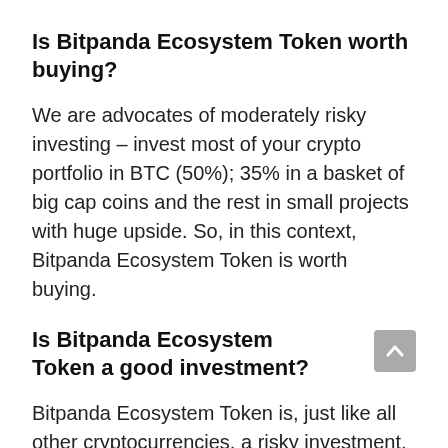Is Bitpanda Ecosystem Token worth buying?
We are advocates of moderately risky investing – invest most of your crypto portfolio in BTC (50%); 35% in a basket of big cap coins and the rest in small projects with huge upside. So, in this context, Bitpanda Ecosystem Token is worth buying.
Is Bitpanda Ecosystem Token a good investment?
Bitpanda Ecosystem Token is, just like all other cryptocurrencies, a risky investment. It does have higher probability of going up than down